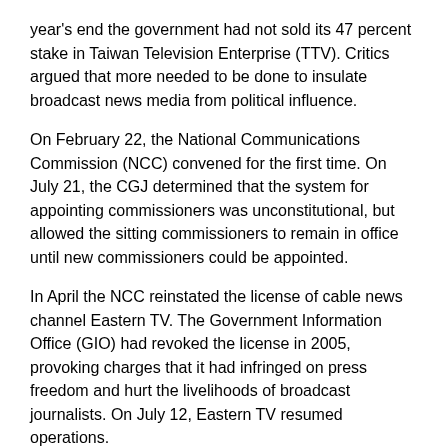year's end the government had not sold its 47 percent stake in Taiwan Television Enterprise (TTV). Critics argued that more needed to be done to insulate broadcast news media from political influence.
On February 22, the National Communications Commission (NCC) convened for the first time. On July 21, the CGJ determined that the system for appointing commissioners was unconstitutional, but allowed the sitting commissioners to remain in office until new commissioners could be appointed.
In April the NCC reinstated the license of cable news channel Eastern TV. The Government Information Office (GIO) had revoked the license in 2005, provoking charges that it had infringed on press freedom and hurt the livelihoods of broadcast journalists. On July 12, Eastern TV resumed operations.
In May the Executive Yuan Administrative Appeals Review Committee reversed another controversial GIO decision. In November 2005 GIO levied a $30,000 (NT$1 million) fine on TVBS, a Hong Kong-invested satellite broadcast station. GIO alleged TVBS had exceeded the 50 percent cap on foreign ownership. GIO was ordered to return the fine.